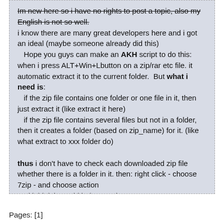Im new here so i have no rights to post a topic, also my English is not so well. [strikethrough] i know there are many great developers here and i got an ideal (maybe someone already did this) Hope you guys can make an AKH script to do this: when i press ALT+Win+Lbutton on a zip/rar etc file. it automatic extract it to the current folder.  But what i need is: if the zip file contains one folder or one file in it, then just extract it (like extract it here) if the zip file contains several files but not in a folder, then it creates a folder (based on zip_name) for it. (like what extract to xxx folder do) thus i don't have to check each downloaded zip file whether there is a folder in it. then: right click - choose 7zip - and choose action and i think it would help TC a lot
Pages: [1]